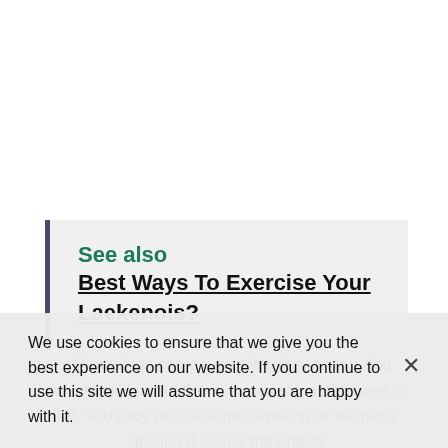See also  Best Ways To Exercise Your Laekenois?
Microchips can cause allergies in your dog which will lead to them scratching at the area a lot. You may notice some swelling or redness around it. since they have
We use cookies to ensure that we give you the best experience on our website. If you continue to use this site we will assume that you are happy with it.